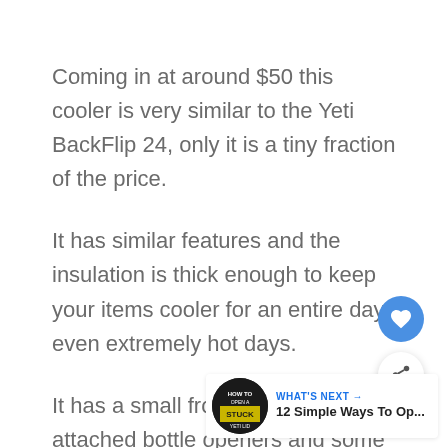Coming in at around $50 this cooler is very similar to the Yeti BackFlip 24, only it is a tiny fraction of the price.
It has similar features and the insulation is thick enough to keep your items cooler for an entire day, even extremely hot days.
It has a small front pocket, two attached bottle openers and some molle straps on the side for attaching extra pockets or other items.